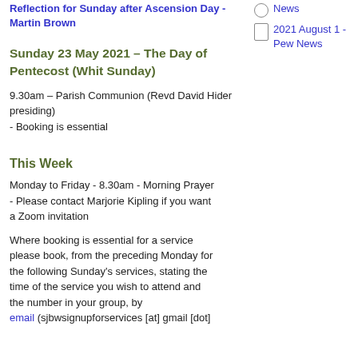Reflection for Sunday after Ascension Day - Martin Brown
News
2021 August 1 - Pew News
Sunday 23 May 2021 – The Day of Pentecost (Whit Sunday)
9.30am – Parish Communion (Revd David Hider presiding)
- Booking is essential
This Week
Monday to Friday - 8.30am - Morning Prayer - Please contact Marjorie Kipling if you want a Zoom invitation
Where booking is essential for a service please book, from the preceding Monday for the following Sunday's services, stating the time of the service you wish to attend and the number in your group, by email (sjbwsignupforservices [at] gmail [dot]